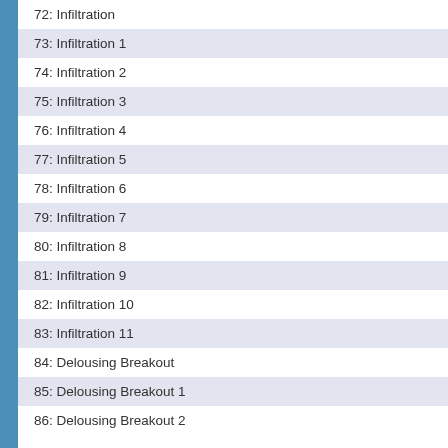72: Infiltration
73: Infiltration 1
74: Infiltration 2
75: Infiltration 3
76: Infiltration 4
77: Infiltration 5
78: Infiltration 6
79: Infiltration 7
80: Infiltration 8
81: Infiltration 9
82: Infiltration 10
83: Infiltration 11
84: Delousing Breakout
85: Delousing Breakout 1
86: Delousing Breakout 2